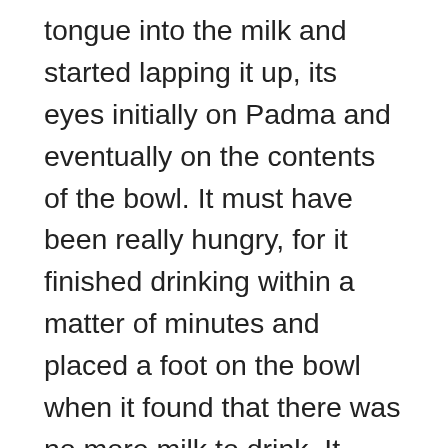tongue into the milk and started lapping it up, its eyes initially on Padma and eventually on the contents of the bowl. It must have been really hungry, for it finished drinking within a matter of minutes and placed a foot on the bowl when it found that there was no more milk to drink. It looked up at a smiling Padma, who was glad that her offering had been so well accepted. “Do you want more?”, she enquired, not really expecting a response. Those expectant eyes were answer enough and she went back to the kitchen area to heat up some more milk. This time however, the cat followed her and began poking at the slippers she had left at the entrance of the